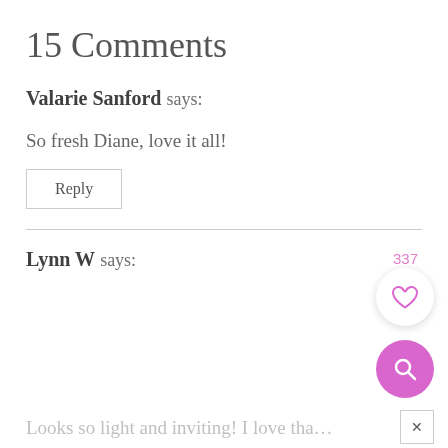15 Comments
Valarie Sanford says:
So fresh Diane, love it all!
Reply
337
Lynn W says:
Looks so light and inviting! I love tha…